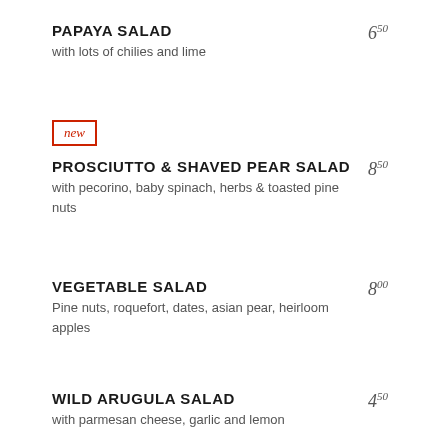PAPAYA SALAD
with lots of chilies and lime
new
PROSCIUTTO & SHAVED PEAR SALAD
with pecorino, baby spinach, herbs & toasted pine nuts
VEGETABLE SALAD
Pine nuts, roquefort, dates, asian pear, heirloom apples
WILD ARUGULA SALAD
with parmesan cheese, garlic and lemon